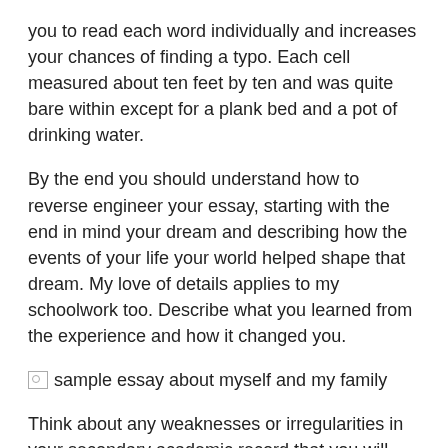you to read each word individually and increases your chances of finding a typo. Each cell measured about ten feet by ten and was quite bare within except for a plank bed and a pot of drinking water.
By the end you should understand how to reverse engineer your essay, starting with the end in mind your dream and describing how the events of your life your world helped shape that dream. My love of details applies to my schoolwork too. Describe what you learned from the experience and how it changed you.
[Figure (photo): Broken image placeholder with alt text: sample essay about myself and my family]
Think about any weaknesses or irregularities in your secondary academic record that you will need to explain. But it's also a unique opportunity that can make a difference at decision time. In high school I moved on to more advanced projects, teaching myself how to take